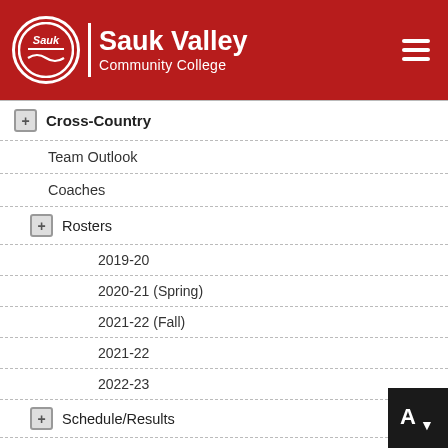Sauk Valley Community College
Cross-Country
Team Outlook
Coaches
Rosters
2019-20
2020-21 (Spring)
2021-22 (Fall)
2021-22
2022-23
Schedule/Results
2019-20
2020-21
2021-22
2022-23
Action Photos
2019-20
2020-21
2021-22
2020-21